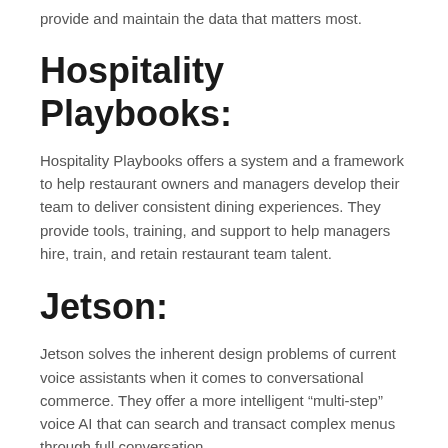provide and maintain the data that matters most.
Hospitality Playbooks:
Hospitality Playbooks offers a system and a framework to help restaurant owners and managers develop their team to deliver consistent dining experiences. They provide tools, training, and support to help managers hire, train, and retain restaurant team talent.
Jetson:
Jetson solves the inherent design problems of current voice assistants when it comes to conversational commerce. They offer a more intelligent “multi-step” voice AI that can search and transact complex menus through full conversation.
Locl:
Locl was built so businesses get the most from maps platforms, especially those who rely on foot-traffic, such as